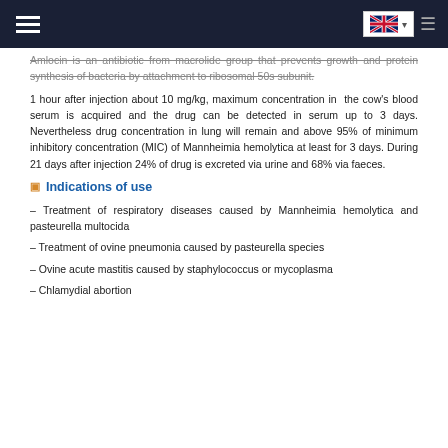Navigation bar with hamburger menu and UK flag language selector
Amlocin is an antibiotic from macrolide group that prevents growth and protein synthesis of bacteria by attachment to ribosomal 50s subunit.
1 hour after injection about 10 mg/kg, maximum concentration in the cow's blood serum is acquired and the drug can be detected in serum up to 3 days. Nevertheless drug concentration in lung will remain and above 95% of minimum inhibitory concentration (MIC) of Mannheimia hemolytica at least for 3 days. During 21 days after injection 24% of drug is excreted via urine and 68% via faeces.
Indications of use
– Treatment of respiratory diseases caused by Mannheimia hemolytica and pasteurella multocida
– Treatment of ovine pneumonia caused by pasteurella species
– Ovine acute mastitis caused by staphylococcus or mycoplasma
– Chlamydial abortion